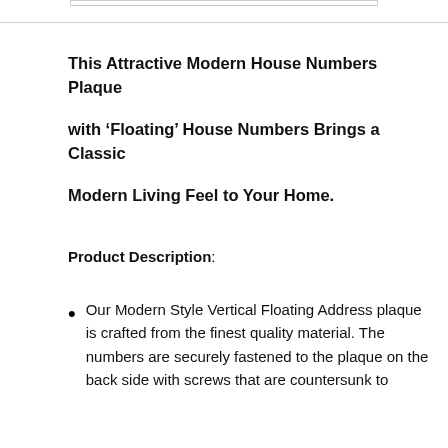This Attractive Modern House Numbers Plaque with ‘Floating’ House Numbers Brings a Classic Modern Living Feel to Your Home.
Product Description:
Our Modern Style Vertical Floating Address plaque is crafted from the finest quality material. The numbers are securely fastened to the plaque on the back side with screws that are countersunk to